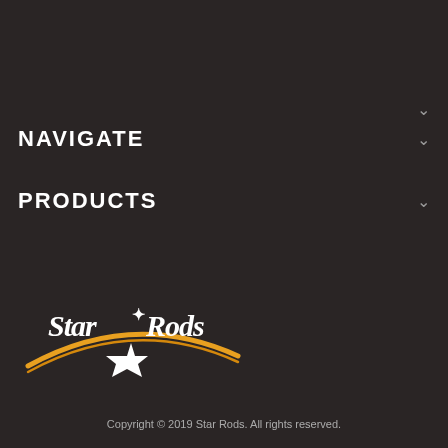NAVIGATE
PRODUCTS
[Figure (logo): Star Rods logo with stylized text and orange arc swoosh with white star]
Copyright © 2019 Star Rods. All rights reserved.